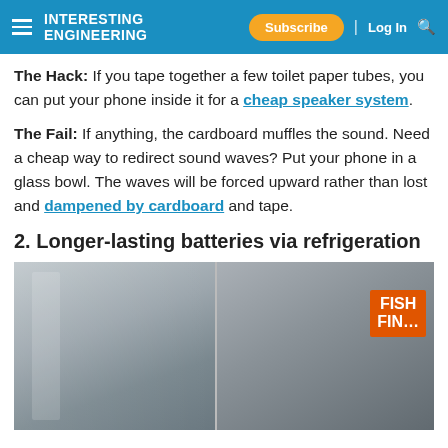Interesting Engineering | Subscribe | Log In
The Hack: If you tape together a few toilet paper tubes, you can put your phone inside it for a cheap speaker system.
The Fail: If anything, the cardboard muffles the sound. Need a cheap way to redirect sound waves? Put your phone in a glass bowl. The waves will be forced upward rather than lost and dampened by cardboard and tape.
2. Longer-lasting batteries via refrigeration
[Figure (photo): Open refrigerator door showing a fish fingers box inside on the right side, split image showing inside of fridge door on left and food items on right shelf.]